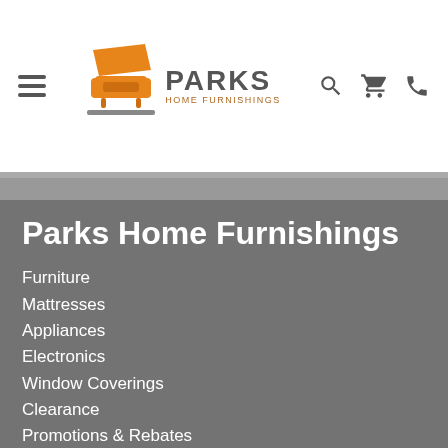[Figure (logo): Parks Home Furnishings logo with orange sofa icon and text]
Parks Home Furnishings
Furniture
Mattresses
Appliances
Electronics
Window Coverings
Clearance
Promotions & Rebates
Services
About Us